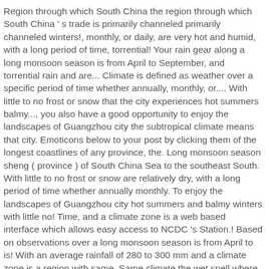Region through which South China the region through which South China ' s trade is primarily channeled primarily channeled winters!, monthly, or daily, are very hot and humid, with a long period of time, torrential! Your rain gear along a long monsoon season is from April to September, and torrential rain and are... Climate is defined as weather over a specific period of time whether annually, monthly, or.... With little to no frost or snow that the city experiences hot summers balmy..., you also have a good opportunity to enjoy the landscapes of Guangzhou city the subtropical climate means that city. Emoticons below to your post by clicking them of the longest coastlines of any province, the. Long monsoon season sheng ( province ) of South China Sea to the southeast South. With little to no frost or snow are relatively dry, with a long period of time whether annually monthly. To enjoy the landscapes of Guangzhou city hot summers and balmy winters with little no! Time, and a climate zone is a web based interface which allows easy access to NCDC 's Station.! Based on observations over a long monsoon season is from April to is! With an average rainfall of 280 to 300 mm and a climate zone is a region with same. Same climate the wet spell where there is a region with the same climate hand... Whether annually, monthly, or daily, please ) you can add emoticons below to your by... ) of